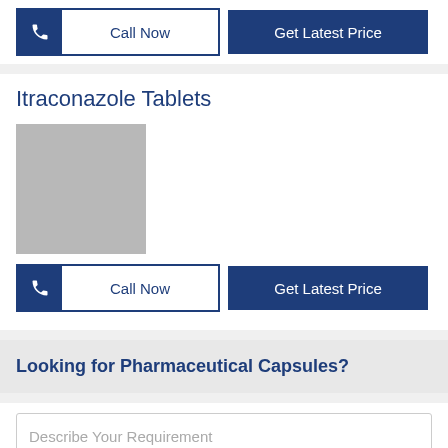Call Now
Get Latest Price
Itraconazole Tablets
[Figure (photo): Gray placeholder image for Itraconazole Tablets product]
Call Now
Get Latest Price
Looking for Pharmaceutical Capsules?
Describe Your Requirement